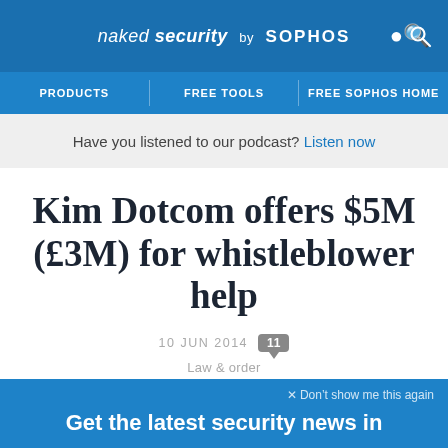naked security by SOPHOS
PRODUCTS | FREE TOOLS | FREE SOPHOS HOME
Have you listened to our podcast? Listen now
Kim Dotcom offers $5M (£3M) for whistleblower help
10 JUN 2014  11  Law & order
× Don't show me this again
Get the latest security news in